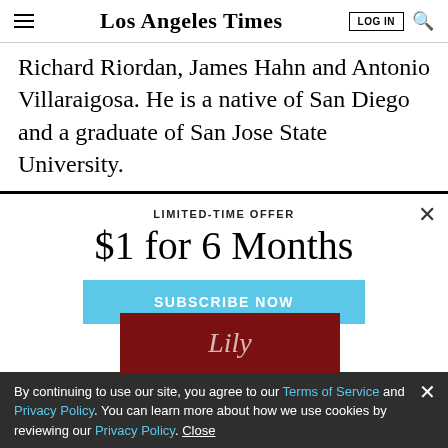Los Angeles Times
Richard Riordan, James Hahn and Antonio Villaraigosa. He is a native of San Diego and a graduate of San Jose State University.
LIMITED-TIME OFFER
$1 for 6 Months
SUBSCRIBE NOW
By continuing to use our site, you agree to our Terms of Service and Privacy Policy. You can learn more about how we use cookies by reviewing our Privacy Policy. Close